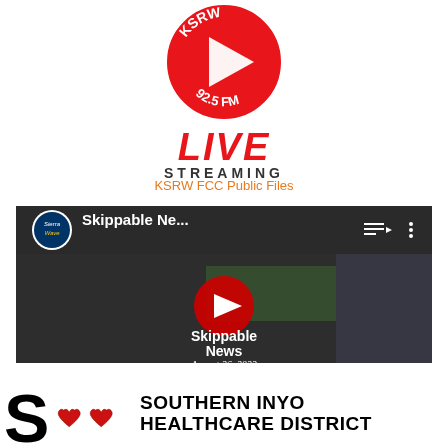[Figure (logo): KSRW 92.5 FM circular logo with red background, white play button triangle, and text 'KSRW 92.5 FM' around the circle]
LIVE STREAMING
KSRW FCC Public Files
[Figure (screenshot): YouTube video thumbnail showing 'Skippable Ne...' with Sierra Wave channel logo, YouTube play button overlay, text 'Skippable News August 26, 2022' on dark background]
[Figure (logo): Southern Inyo Healthcare District logo with large S letter and two red heart graphics, alongside bold black text 'SOUTHERN INYO HEALTHCARE DISTRICT']